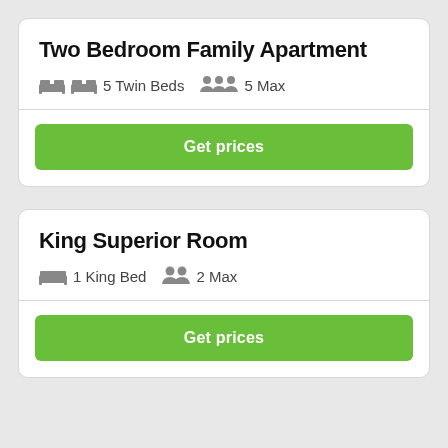Two Bedroom Family Apartment
5 Twin Beds   5 Max
Get prices
King Superior Room
1 King Bed   2 Max
Get prices